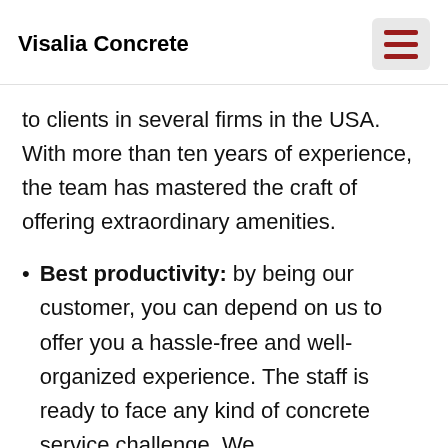Visalia Concrete
to clients in several firms in the USA. With more than ten years of experience, the team has mastered the craft of offering extraordinary amenities.
Best productivity: by being our customer, you can depend on us to offer you a hassle-free and well-organized experience. The staff is ready to face any kind of concrete service challenge. We